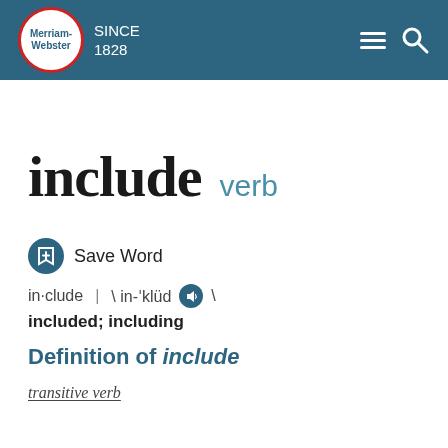Merriam-Webster | SINCE 1828
include verb
Save Word
in·clude | \ in-'klüd \
included; including
Definition of include
transitive verb